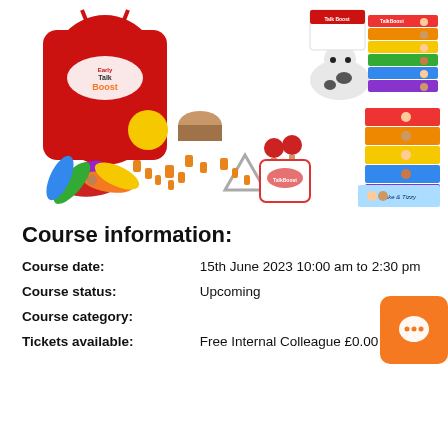[Figure (photo): Early Talk Boost educational kit spread out on a white surface, including a red drawstring bag with Early Talk Boost logo, toy animals (tiger, cow), musical instruments (drum, maracas, triangle), colorful feathers, various small toys, stacked colorful booklets, and a Jake & Tizzy storybook.]
Course information:
| Course date: | 15th June 2023 10:00 am to 2:30 pm |
| Course status: | Upcoming |
| Course category: |  |
| Tickets available: | Free Internal Colleague £0.00 |